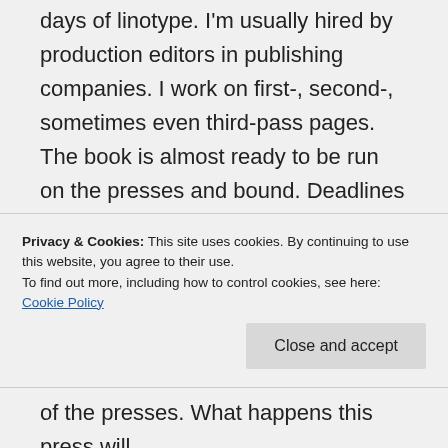days of linotype. I'm usually hired by production editors in publishing companies. I work on first-, second-, sometimes even third-pass pages. The book is almost ready to be run on the presses and bound. Deadlines are set with an eye to making the date for the press run and it's imperative that they be met. The proofreader and the indexer are the last sets of fresh eyes to see the
Privacy & Cookies: This site uses cookies. By continuing to use this website, you agree to their use.
To find out more, including how to control cookies, see here: Cookie Policy
of the presses. What happens this press will